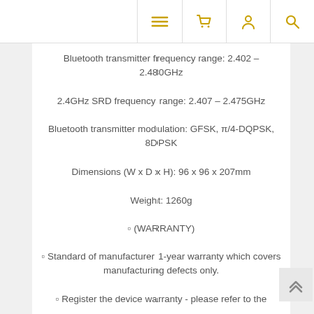Navigation bar with menu, cart, account, and search icons
Bluetooth transmitter frequency range: 2.402 – 2.480GHz
2.4GHz SRD frequency range: 2.407 – 2.475GHz
Bluetooth transmitter modulation: GFSK, π/4-DQPSK, 8DPSK
Dimensions (W x D x H): 96 x 96 x 207mm
Weight: 1260g
☐ (WARRANTY)
☐ Standard of manufacturer 1-year warranty which covers manufacturing defects only.
☐ Register the device warranty - please refer to the